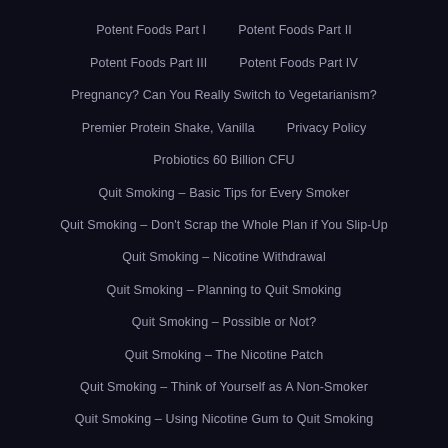Potent Foods Part I
Potent Foods Part II
Potent Foods Part III
Potent Foods Part IV
Pregnancy? Can You Really Switch to Vegetarianism?
Premier Protein Shake, Vanilla
Privacy Policy
Probiotics 60 Billion CFU
Quit Smoking – Basic Tips for Every Smoker
Quit Smoking – Don't Scrap the Whole Plan if You Slip-Up
Quit Smoking – Nicotine Withdrawal
Quit Smoking – Planning to Quit Smoking
Quit Smoking – Possible or Not?
Quit Smoking – The Nicotine Patch
Quit Smoking – Think of Yourself as A Non-Smoker
Quit Smoking – Using Nicotine Gum to Quit Smoking